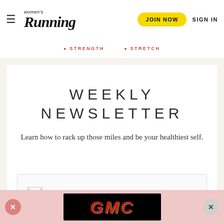Women's Running — JOIN NOW  SIGN IN
STRENGTH  STRETCH
WEEKLY NEWSLETTER
Learn how to rack up those miles and be your healthiest self.
[Figure (screenshot): Email input field with envelope icon]
[Figure (screenshot): SUBMIT button in coral/salmon color]
[Figure (screenshot): GMC advertisement banner on black background with close buttons]